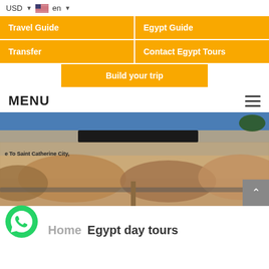USD  en
Travel Guide
Egypt Guide
Transfer
Contact Egypt Tours
Build your trip
MENU
[Figure (photo): Mosaic mural at the entrance to Saint Catherine City, Egypt, with Arabic text and desert landscape scenes. Blue sky visible at top.]
[Figure (logo): Green WhatsApp logo button in bottom-left corner]
Home   Egypt day tours